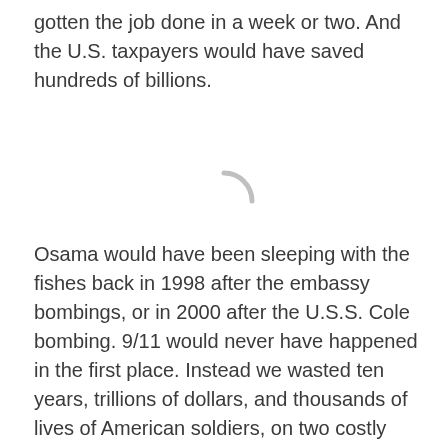gotten the job done in a week or two. And the U.S. taxpayers would have saved hundreds of billions.
[Figure (other): A partial loading spinner arc shown in light gray, indicating a loading or processing state.]
Osama would have been sleeping with the fishes back in 1998 after the embassy bombings, or in 2000 after the U.S.S. Cole bombing. 9/11 would never have happened in the first place. Instead we wasted ten years, trillions of dollars, and thousands of lives of American soldiers, on two costly wars and one decade-long incompetent search for Osama… all after the fact of 9/11. Government is slow, lumbering and incompetent — always reacting late, always one step behind.